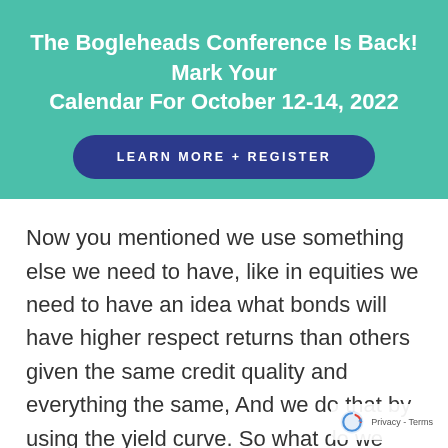The Bogleheads Conference Is Back! Mark Your Calendar For October 12-14, 2022
[Figure (other): Button: LEARN MORE + REGISTER]
Now you mentioned we use something else we need to have, like in equities we need to have an idea what bonds will have higher respect returns than others given the same credit quality and everything the same, And we do that by using the yield curve. So what do we mean by that? Let’s suppose that you have a bond and you hold it to maturity and let's suppose that the bonds don't default,